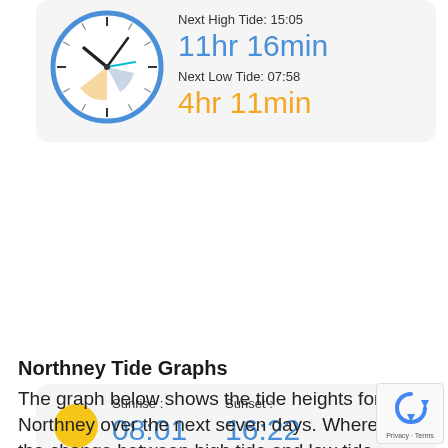[Figure (illustration): Analog tide clock with blue circular border, black hour and minute hands, cyan second hand, orange and tan colored tide markers, showing current time]
Next High Tide: 15:05
11hr 16min
Next Low Tide: 07:58
4hr 11min
[Figure (illustration): Yellow circle sun icon]
Sunrise : 08:01   Sunset : 16:22
[Figure (illustration): Gibbous moon icon, dark crescent on white circle]
Moonrise : 12:26   Moonset : 03:04
Phase: Gibbous Moon
Northney Tide Graphs
The graph below shows the tide heights for Northney over the next seven days. Where the change between high tide and low tide is at its smallest a Neap Tide has occurred. Where this gap is at its greatest this is a Spring Tide. The